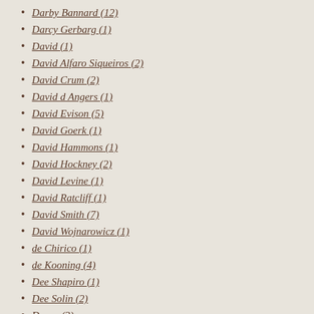Darby Bannard (12)
Darcy Gerbarg (1)
David (1)
David Alfaro Siqueiros (2)
David Crum (2)
David d Angers (1)
David Evison (5)
David Goerk (1)
David Hammons (1)
David Hockney (2)
David Levine (1)
David Ratcliff (1)
David Smith (7)
David Wojnarowicz (1)
de Chirico (1)
de Kooning (4)
Dee Shapiro (1)
Dee Solin (2)
Degas (3)
Delacroix (2)
Delaunay (1)
Desiderio da Settignano (1)
Diego Rivera (3)
Dieter Roth (1)
Donald Trump (2)